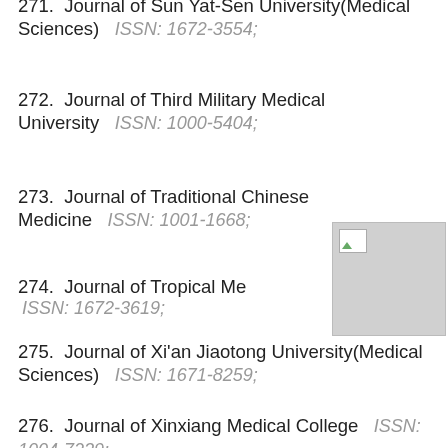271.  Journal of Sun Yat-Sen University(Medical Sciences)   ISSN: 1672-3554;
272.  Journal of Third Military Medical University   ISSN: 1000-5404;
273.  Journal of Traditional Chinese Medicine   ISSN: 1001-1668;
274.  Journal of Tropical Me...   ISSN: 1672-3619;
275.  Journal of Xi'an Jiaotong University(Medical Sciences)   ISSN: 1671-8259;
276.  Journal of Xinxiang Medical College   ISSN: 1004-7239;